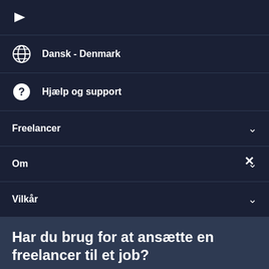[Figure (logo): White arrow/chevron logo icon at top left]
Dansk - Denmark
Hjælp og support
Freelancer
Om
Vilkår
Har du brug for at ansætte en freelancer til et job?
Opret et projekt